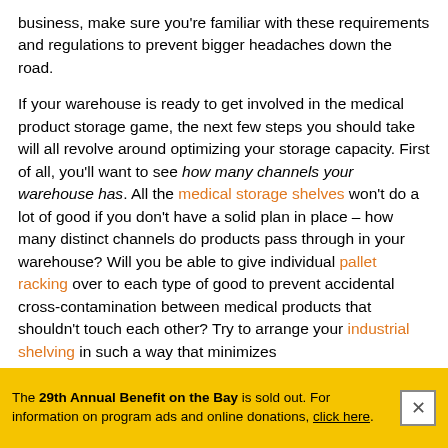business, make sure you're familiar with these requirements and regulations to prevent bigger headaches down the road.
If your warehouse is ready to get involved in the medical product storage game, the next few steps you should take will all revolve around optimizing your storage capacity. First of all, you'll want to see how many channels your warehouse has. All the medical storage shelves won't do a lot of good if you don't have a solid plan in place – how many distinct channels do products pass through in your warehouse? Will you be able to give individual pallet racking over to each type of good to prevent accidental cross-contamination between medical products that shouldn't touch each other? Try to arrange your industrial shelving in such a way that minimizes cross-purpose work and doesn't let products touch other
The 29th Annual Benefit on the Bay is sold out. For information on program ads and online donations, click here.